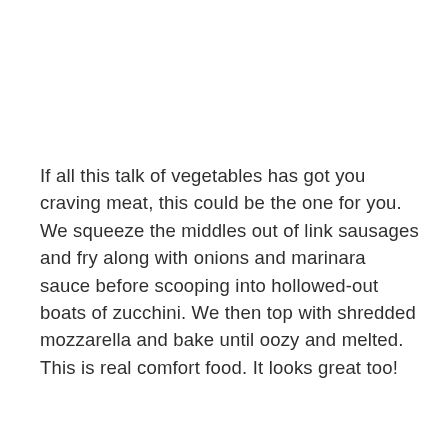If all this talk of vegetables has got you craving meat, this could be the one for you. We squeeze the middles out of link sausages and fry along with onions and marinara sauce before scooping into hollowed-out boats of zucchini. We then top with shredded mozzarella and bake until oozy and melted. This is real comfort food. It looks great too!
19. Vegetarian Lasagna
[Figure (photo): Top portion of a food image with a rounded gray-green rectangle card and a red Pinterest Save button in the upper right. The bottom shows the beginning of a food photograph.]